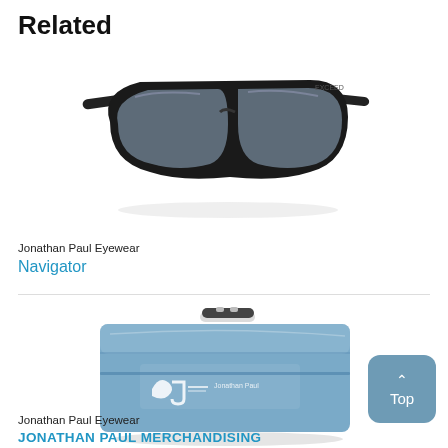Related
[Figure (photo): Black wraparound over-glasses sunglasses by Jonathan Paul Eyewear (Navigator model)]
Jonathan Paul Eyewear
Navigator
[Figure (photo): Blue metallic eyewear display/merchandising case with Jonathan Paul logo and handle]
Jonathan Paul Eyewear
JONATHAN PAUL MERCHANDISING